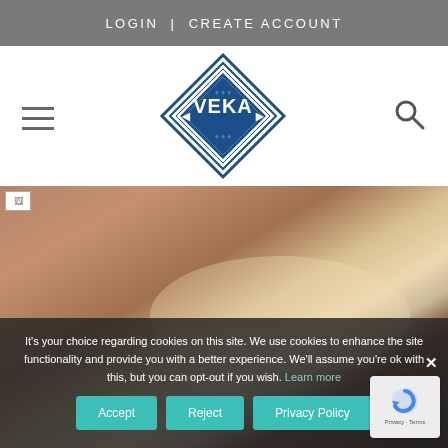LOGIN | CREATE ACCOUNT
[Figure (logo): VEKA diamond-shaped logo in blue with the text VEKA inside a diamond border]
[Figure (photo): Blurred background hero photo of what appears to be a window or architectural element in warm brown tones]
It's your choice regarding cookies on this site. We use cookies to enhance the site functionality and provide you with a better experience. We'll assume you're ok with this, but you can opt-out if you wish. Learn more
Accept  Reject  Privacy Policy